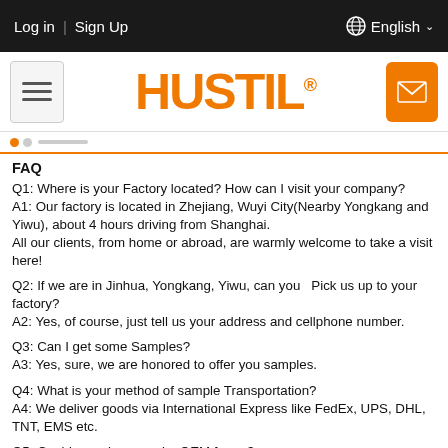Log in | Sign Up    English
[Figure (logo): Hustil logo in orange bold font with registered trademark symbol, hamburger menu icon on left, orange envelope icon on right]
FAQ
Q1: Where is your Factory located? How can I visit your company?
A1: Our factory is located in Zhejiang, Wuyi City(Nearby Yongkang and Yiwu), about 4 hours driving from Shanghai.
All our clients, from home or abroad, are warmly welcome to take a visit here!
Q2: If we are in Jinhua, Yongkang, Yiwu, can you   Pick us up to your factory?
A2: Yes, of course, just tell us your address and cellphone number.
Q3: Can I get some Samples?
A3: Yes, sure, we are honored to offer you samples.
Q4: What is your method of sample Transportation?
A4: We deliver goods via International Express like FedEx, UPS, DHL, TNT, EMS etc.
Q5: Could you please make OEM for us?
A5: Surely yes.We provide the service of replacing your logo and company name on box.